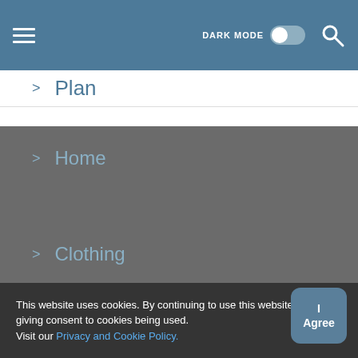DARK MODE [toggle] [search]
> Plan
> Tips
> CBD
> Clothing
> Home
> Home
> Clothing
This website uses cookies. By continuing to use this website you are giving consent to cookies being used. Visit our Privacy and Cookie Policy.